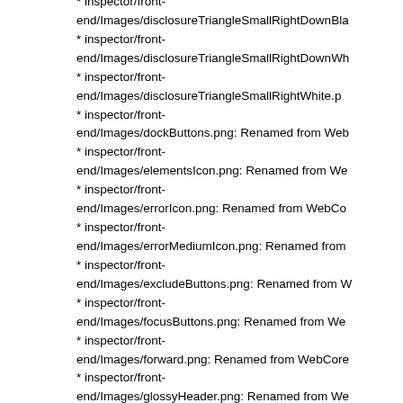* inspector/front-end/Images/disclosureTriangleSmallRightDownBla…
* inspector/front-end/Images/disclosureTriangleSmallRightDownWh…
* inspector/front-end/Images/disclosureTriangleSmallRightWhite.p…
* inspector/front-end/Images/dockButtons.png: Renamed from Web…
* inspector/front-end/Images/elementsIcon.png: Renamed from We…
* inspector/front-end/Images/errorIcon.png: Renamed from WebCo…
* inspector/front-end/Images/errorMediumIcon.png: Renamed from…
* inspector/front-end/Images/excludeButtons.png: Renamed from W…
* inspector/front-end/Images/focusButtons.png: Renamed from We…
* inspector/front-end/Images/forward.png: Renamed from WebCore…
* inspector/front-end/Images/glossyHeader.png: Renamed from We…
* inspector/front-end/Images/glossyHeaderPressed.png: Renamed…
* inspector/front-end/Images/glossyHeaderSelected.png: Renamed…
* inspector/front-end/Images/glossyHeaderSelectedPressed.png: R…
* inspector/front-end/Images/goArrow.png: Renamed from WebCo…
* inspector/front-…